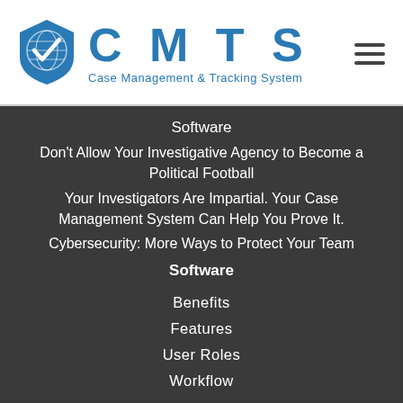[Figure (logo): CMTS logo with globe/checkmark shield icon and text 'CMTS Case Management & Tracking System']
Software
Don't Allow Your Investigative Agency to Become a Political Football
Your Investigators Are Impartial. Your Case Management System Can Help You Prove It.
Cybersecurity: More Ways to Protect Your Team
Software
Benefits
Features
User Roles
Workflow